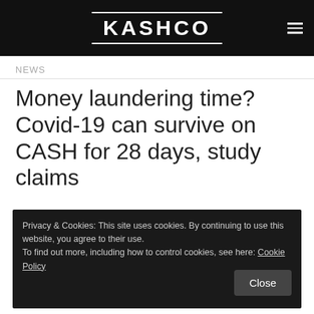KASHCO
NEWS
Money laundering time? Covid-19 can survive on CASH for 28 days, study claims
Privacy & Cookies: This site uses cookies. By continuing to use this website, you agree to their use.
To find out more, including how to control cookies, see here: Cookie Policy